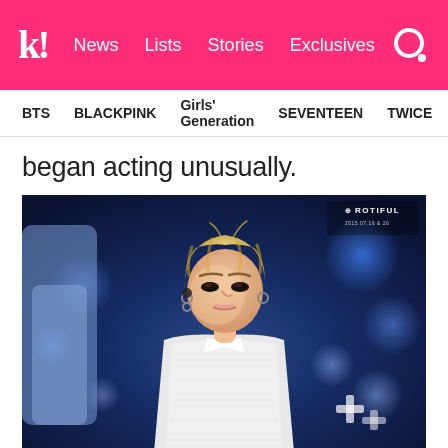k! News  Lists  Stories  Exclusives
BTS  BLACKPINK  Girls' Generation  SEVENTEEN  TWICE
began acting unusually.
[Figure (photo): K-pop performer with blonde hair wearing white sparkly outfit performing on stage with blue bokeh lighting background. Watermark: ROTIFUL in top right corner.]